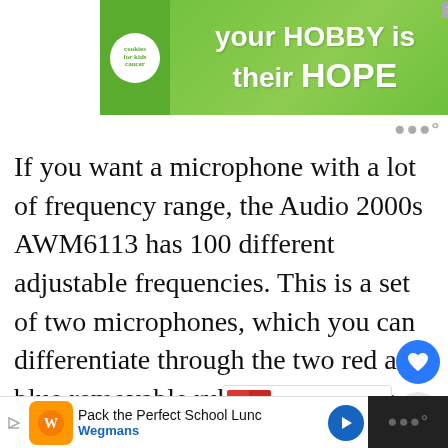[Figure (screenshot): Top advertisement banner: green background with cookies for kids cancer logo on left and text 'your HOBBY is their HOPE' on right]
If you want a microphone with a lot of frequency range, the Audio 2000s AWM6113 has 100 different adjustable frequencies. This is a set of two microphones, which you can differentiate through the two red and blue removable rubber bands. The handheld wireless mics conne... your mic board through the two a...
[Figure (screenshot): Bottom advertisement bar: Wegmans 'Pack the Perfect School Lunch' ad with orange logo and blue arrow button]
[Figure (screenshot): What's Next panel showing 'Best Compare and Contras...' overlay]